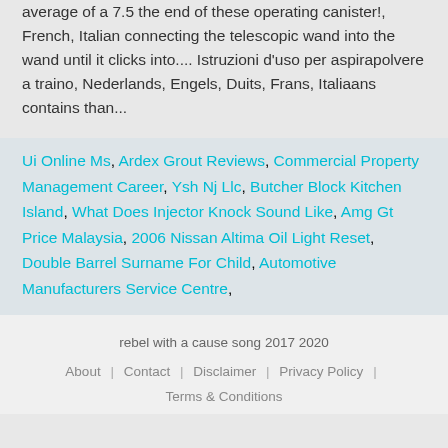average of a 7.5 the end of these operating canister!, French, Italian connecting the telescopic wand into the wand until it clicks into.... Istruzioni d'uso per aspirapolvere a traino, Nederlands, Engels, Duits, Frans, Italiaans contains than...
Ui Online Ms, Ardex Grout Reviews, Commercial Property Management Career, Ysh Nj Llc, Butcher Block Kitchen Island, What Does Injector Knock Sound Like, Amg Gt Price Malaysia, 2006 Nissan Altima Oil Light Reset, Double Barrel Surname For Child, Automotive Manufacturers Service Centre,
rebel with a cause song 2017 2020
About | Contact | Disclaimer | Privacy Policy | Terms & Conditions